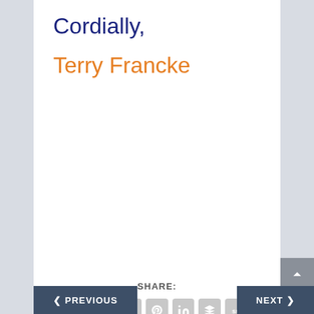Cordially,
Terry Francke
SHARE:
[Figure (infographic): Row of social media share icon buttons: Facebook, Twitter, Google+, Tumblr, Pinterest, LinkedIn, Buffer, StumbleUpon, Email, and a Print button below]
RATE:
[Figure (infographic): Five grey star rating circles]
< PREVIOUS
NEXT >